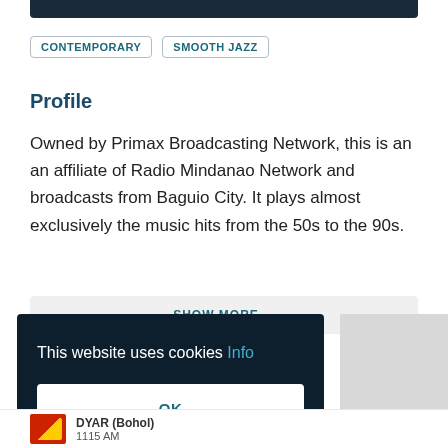[Figure (other): Dark header image bar at top of page]
CONTEMPORARY
SMOOTH JAZZ
Profile
Owned by Primax Broadcasting Network, this is an an affiliate of Radio Mindanao Network and broadcasts from Baguio City. It plays almost exclusively the music hits from the 50s to the 90s.
SHOW MORE
This website uses cookies Info
OK
1115 AM